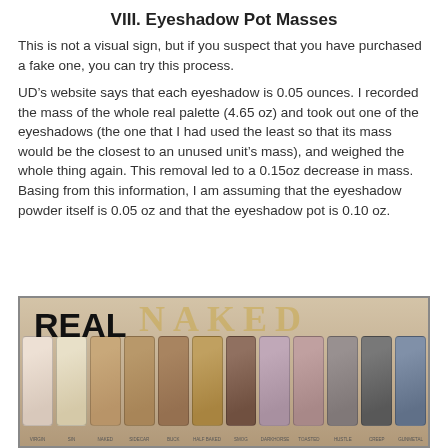VIII. Eyeshadow Pot Masses
This is not a visual sign, but if you suspect that you have purchased a fake one, you can try this process.
UD’s website says that each eyeshadow is 0.05 ounces. I recorded the mass of the whole real palette (4.65 oz) and took out one of the eyeshadows (the one that I had used the least so that its mass would be the closest to an unused unit’s mass), and weighed the whole thing again. This removal led to a 0.15oz decrease in mass. Basing from this information, I am assuming that the eyeshadow powder itself is 0.05 oz and that the eyeshadow pot is 0.10 oz.
[Figure (photo): Photo of a real Urban Decay Naked eyeshadow palette showing 12 eyeshadow shades ranging from light neutral to dark blue-grey, with 'NAKED' text visible in gold at the top of the palette and 'REAL' label overlaid in bold black text on the upper left.]